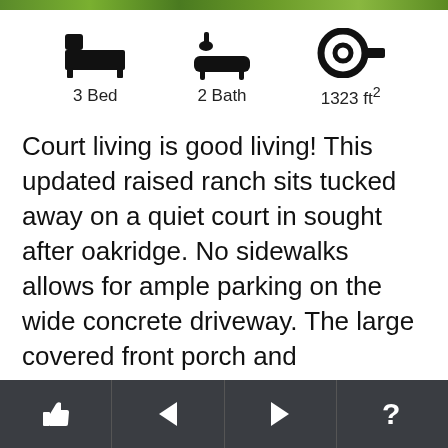[Figure (infographic): Green decorative bar at top of page]
3 Bed  2 Bath  1323 ft²
Court living is good living! This updated raised ranch sits tucked away on a quiet court in sought after oakridge. No sidewalks allows for ample parking on the wide concrete driveway. The large covered front porch and landscaping create lovely curb appeal and a warm first impression. Soaring ceilings as you enter the large foyer with ceramic floors... [Read More]
This listing is no longer active. The property may
🖑  ◄  ►  ?